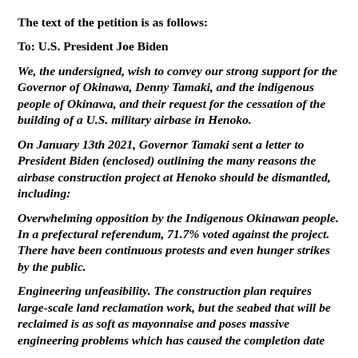The text of the petition is as follows:
To: U.S. President Joe Biden
We, the undersigned, wish to convey our strong support for the Governor of Okinawa, Denny Tamaki, and the indigenous people of Okinawa, and their request for the cessation of the building of a U.S. military airbase in Henoko.
On January 13th 2021, Governor Tamaki sent a letter to President Biden (enclosed) outlining the many reasons the airbase construction project at Henoko should be dismantled, including:
Overwhelming opposition by the Indigenous Okinawan people. In a prefectural referendum, 71.7% voted against the project. There have been continuous protests and even hunger strikes by the public.
Engineering unfeasibility. The construction plan requires large-scale land reclamation work, but the seabed that will be reclaimed is as soft as mayonnaise and poses massive engineering problems which has caused the completion date